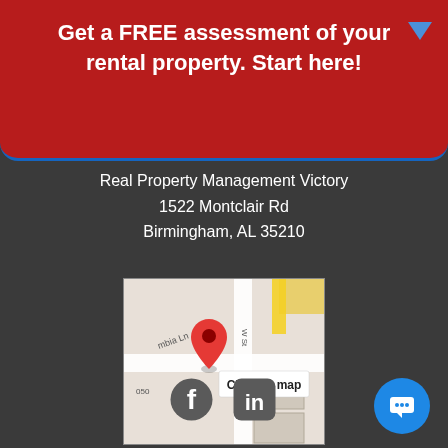Get a FREE assessment of your rental property. Start here!
Real Property Management Victory
1522 Montclair Rd
Birmingham, AL 35210
[Figure (map): Google Maps snippet showing location pin at 1522 Montclair Rd, Birmingham AL 35210 with 'Click on map' label]
[Figure (logo): Facebook and LinkedIn social media icons in gray]